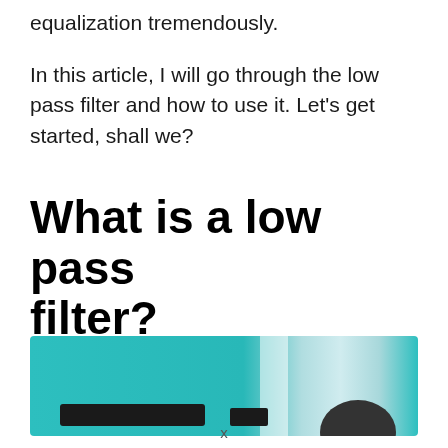equalization tremendously.
In this article, I will go through the low pass filter and how to use it. Let's get started, shall we?
What is a low pass filter?
[Figure (photo): A photo with a teal/cyan background showing audio or studio equipment silhouettes and what appears to be a person's head in the lower right corner.]
x